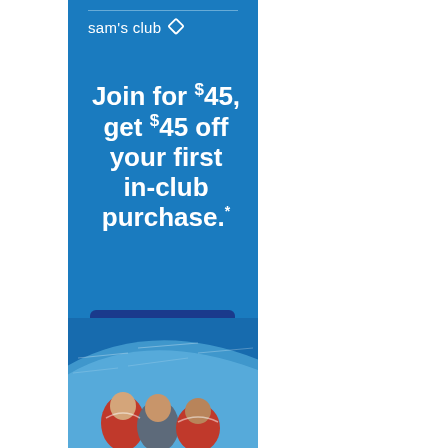[Figure (illustration): Sam's Club advertisement banner with blue background. Shows Sam's Club logo at top, promotional text 'Join for $45, get $45 off your first in-club purchase.*', a dark blue 'Join Now' button, terms text '*Terms apply. See site for details.', and an image of three people on a boat on water at the bottom.]